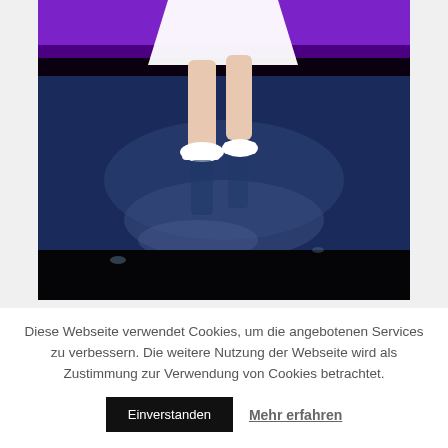[Figure (photo): A dancer on stage wearing a white dress and white shoes, photographed from the waist down. The stage floor is dark and reflective with blue and dark tones. The background behind the stage is purple/violet.]
Diese Webseite verwendet Cookies, um die angebotenen Services zu verbessern. Die weitere Nutzung der Webseite wird als Zustimmung zur Verwendung von Cookies betrachtet.
Einverstanden
Mehr erfahren